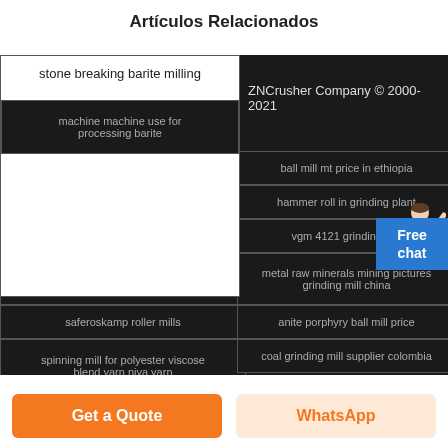Artículos Relacionados
stone breaking barite milling
machine machine use for processing barite
ZNCrusher Company © 2000-2021
manganese grinding mill
ball mill mt price in ethiopia
iron ore used ball mill
hammer roll in grinding plant
mill plant in south africa
vgm 4121 grinding mill
iron ore raymond mills used for sale
metal raw minerals mining pictures grinding mill china
saferoskamp roller mills
anite porphyry ball mill price
spinning mill for polyester viscose blend yarn niya yarn
coal grinding mill supplier colombia
Copyrights.
mill in mining sector
grinding grinding mill for quartz india for price
Free chat
Get a Quote
WhatsApp